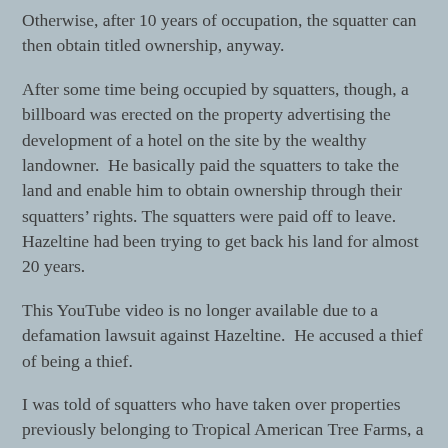Otherwise, after 10 years of occupation, the squatter can then obtain titled ownership, anyway.
After some time being occupied by squatters, though, a billboard was erected on the property advertising the development of a hotel on the site by the wealthy landowner.  He basically paid the squatters to take the land and enable him to obtain ownership through their squatters' rights. The squatters were paid off to leave. Hazeltine had been trying to get back his land for almost 20 years.
This YouTube video is no longer available due to a defamation lawsuit against Hazeltine.  He accused a thief of being a thief.
I was told of squatters who have taken over properties previously belonging to Tropical American Tree Farms, a failed teak farm venture. A young attorney organized squatters to occupy the former teak farms, charging them for the privilege. They cut down the trees and planted